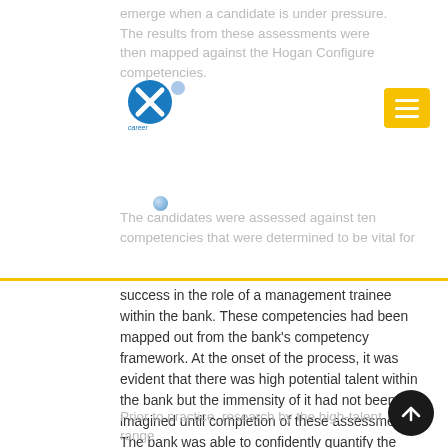emerge when a candidate is under pressure. The results from these assessments were then mapped against the Hogan Configure competencies.
[Figure (logo): Career Connections logo with blue X icon and text]
The candidates were assessed against ten competencies that were determined to be vital for success in the role of a management trainee within the bank. These competencies had been mapped out from the bank's competency framework. At the onset of the process, it was evident that there was high potential talent within the bank but the immensity of it had not been imagined until completion of these assessments. The bank was able to confidently quantify the potential of its talent pool. Out of the 449 candidates assessed, 38% registered high and very high potential and a further 28% scored within the moderate potential range.
Prior to practice, research by the high-potential range